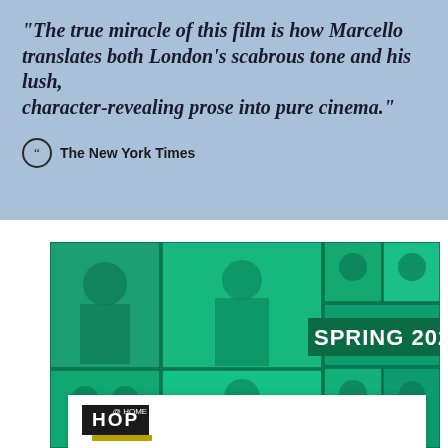"The true miracle of this film is how Marcello translates both London's scabrous tone and his lush, character-revealing prose into pure cinema."
The New York Times
[Figure (photo): Green-tinted photo collage showing multiple musicians and performers including violinists, cellists, conductors, and dancers. Text overlay reads SPRING 2021.]
[Figure (logo): HOP @ HOME logo in black box with television/couch graphic, followed by a gold horizontal rule]